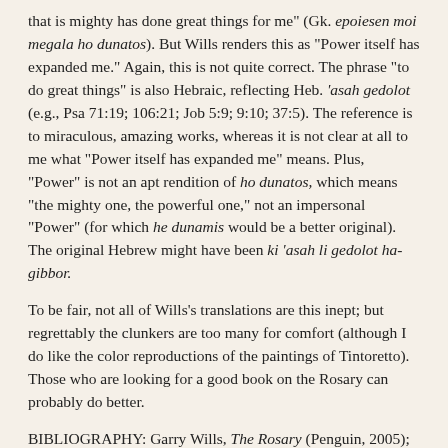that is mighty has done great things for me" (Gk. epoiesen moi megala ho dunatos). But Wills renders this as "Power itself has expanded me." Again, this is not quite correct. The phrase "to do great things" is also Hebraic, reflecting Heb. ‘asah gedolot (e.g., Psa 71:19; 106:21; Job 5:9; 9:10; 37:5). The reference is to miraculous, amazing works, whereas it is not clear at all to me what "Power itself has expanded me" means. Plus, "Power" is not an apt rendition of ho dunatos, which means "the mighty one, the powerful one," not an impersonal "Power" (for which he dunamis would be a better original). The original Hebrew might have been ki ‘asah li gedolot ha-gibbor.
To be fair, not all of Wills's translations are this inept; but regrettably the clunkers are too many for comfort (although I do like the color reproductions of the paintings of Tintoretto). Those who are looking for a good book on the Rosary can probably do better.
BIBLIOGRAPHY: Garry Wills, The Rosary (Penguin, 2005); Randall Buth's seminal article, "Hebrew Poetic Tenses and the Magnificat," Journal for the Study of the New Testament 21 (1984) 67-83, should be read by all NT scholars. He includes a complete